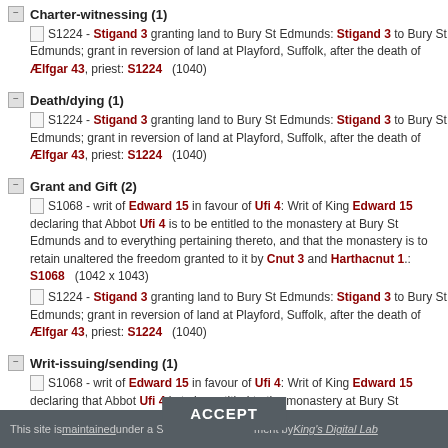Charter-witnessing (1)
S1224 - Stigand 3 granting land to Bury St Edmunds: Stigand 3 to Bury St Edmunds; grant in reversion of land at Playford, Suffolk, after the death of Ælfgar 43, priest: S1224 (1040)
Death/dying (1)
S1224 - Stigand 3 granting land to Bury St Edmunds: Stigand 3 to Bury St Edmunds; grant in reversion of land at Playford, Suffolk, after the death of Ælfgar 43, priest: S1224 (1040)
Grant and Gift (2)
S1068 - writ of Edward 15 in favour of Ufi 4: Writ of King Edward 15 declaring that Abbot Ufi 4 is to be entitled to the monastery at Bury St Edmunds and to everything pertaining thereto, and that the monastery is to retain unaltered the freedom granted to it by Cnut 3 and Harthacnut 1.: S1068 (1042 x 1043)
S1224 - Stigand 3 granting land to Bury St Edmunds: Stigand 3 to Bury St Edmunds; grant in reversion of land at Playford, Suffolk, after the death of Ælfgar 43, priest: S1224 (1040)
Writ-issuing/sending (1)
S1068 - writ of Edward 15 in favour of Ufi 4: Writ of King Edward 15 declaring that Abbot Ufi 4 is to be entitled to the monastery at Bury St Edmunds and to everything pertaining thereto, and that the monastery is to retain unaltered the freedom granted to it by Cnut 3 and Harthacnut 1.: S1068 (1042 x 1043)
This site is maintained under a Service Level Agreement by King's Digital Lab